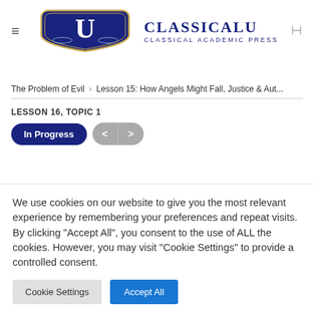[Figure (logo): ClassicalU - Classical Academic Press shield logo with 'U' letter and laurel wreath, navy blue and white, with text 'CLASSICALU' and 'CLASSICAL ACADEMIC PRESS']
The Problem of Evil > Lesson 15: How Angels Might Fall, Justice & Aut...
LESSON 16, TOPIC 1
In Progress
We use cookies on our website to give you the most relevant experience by remembering your preferences and repeat visits. By clicking "Accept All", you consent to the use of ALL the cookies. However, you may visit "Cookie Settings" to provide a controlled consent.
Cookie Settings  Accept All